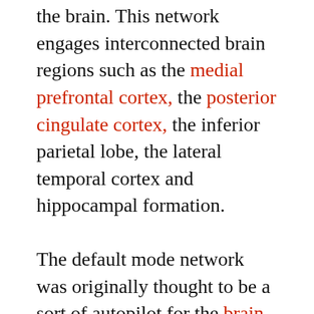the brain. This network engages interconnected brain regions such as the medial prefrontal cortex, the posterior cingulate cortex, the inferior parietal lobe, the lateral temporal cortex and hippocampal formation.
The default mode network was originally thought to be a sort of autopilot for the brain when it was at rest and shown only to be active when someone is not engaged in externally directed thinking. Continued studies, including this one, suggest that the default mode network actually is working behind the scenes while the mind is ostensibly